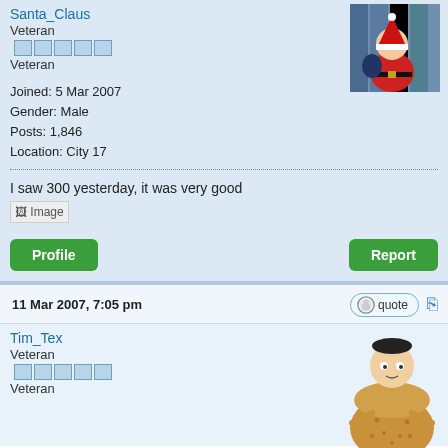Santa_Claus
Veteran
Veteran
Joined: 5 Mar 2007
Gender: Male
Posts: 1,846
Location: City 17
[Figure (photo): Forum avatar showing cartoon Santa Claus character]
I saw 300 yesterday, it was very good
[Figure (photo): Broken image placeholder labeled Image]
Profile
Report
11 Mar 2007, 7:05 pm
quote
Tim_Tex
Veteran
Veteran
[Figure (illustration): Forum avatar showing cartoon character dressed as a hamburger]